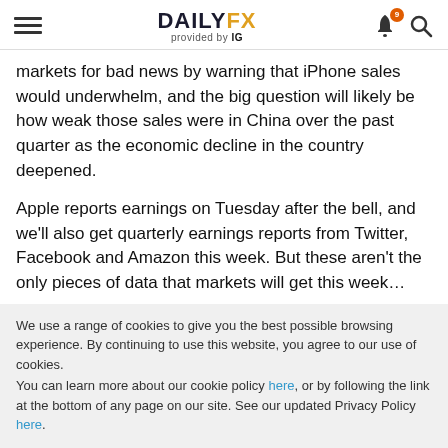DAILYFX provided by IG
markets for bad news by warning that iPhone sales would underwhelm, and the big question will likely be how weak those sales were in China over the past quarter as the economic decline in the country deepened.
Apple reports earnings on Tuesday after the bell, and we'll also get quarterly earnings reports from Twitter, Facebook and Amazon this week. But these aren't the only pieces of data that markets will get this week…
We use a range of cookies to give you the best possible browsing experience. By continuing to use this website, you agree to our use of cookies.
You can learn more about our cookie policy here, or by following the link at the bottom of any page on our site. See our updated Privacy Policy here.
Accept